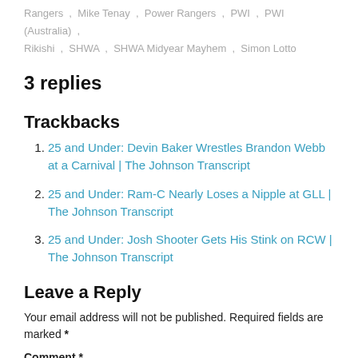Rangers , Mike Tenay , Power Rangers , PWI , PWI (Australia) , Rikishi , SHWA , SHWA Midyear Mayhem , Simon Lotto
3 replies
Trackbacks
25 and Under: Devin Baker Wrestles Brandon Webb at a Carnival | The Johnson Transcript
25 and Under: Ram-C Nearly Loses a Nipple at GLL | The Johnson Transcript
25 and Under: Josh Shooter Gets His Stink on RCW | The Johnson Transcript
Leave a Reply
Your email address will not be published. Required fields are marked *
Comment *